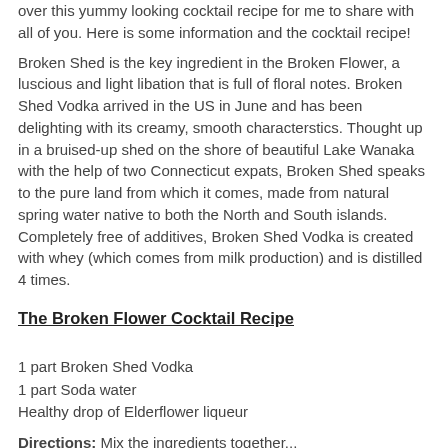over this yummy looking cocktail recipe for me to share with all of you. Here is some information and the cocktail recipe!
Broken Shed is the key ingredient in the Broken Flower, a luscious and light libation that is full of floral notes. Broken Shed Vodka arrived in the US in June and has been delighting with its creamy, smooth characterstics. Thought up in a bruised-up shed on the shore of beautiful Lake Wanaka with the help of two Connecticut expats, Broken Shed speaks to the pure land from which it comes, made from natural spring water native to both the North and South islands. Completely free of additives, Broken Shed Vodka is created with whey (which comes from milk production) and is distilled 4 times.
The Broken Flower Cocktail Recipe
1 part Broken Shed Vodka
1 part Soda water
Healthy drop of Elderflower liqueur
Directions: Mix the ingredients together...